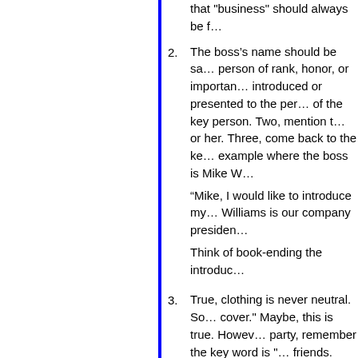(continuation) that “business” should always be f…
2. The boss’s name should be said first because the person of rank, honor, or importance is introduced or presented to the person. One, say the name of the key person. Two, mention the name of him or her. Three, come back to the key person. For example where the boss is Mike W… “Mike, I would like to introduce my… Williams is our company president… Think of book-ending the introduc…
3. True, clothing is never neutral. Some say “don’t judge a book by its cover.” Maybe, this is true. However, when going to a business party, remember the key word is “business.” You are not with friends. Women should avoid wea…
4. False. A man does not have to wait for a woman to initiate the handshake. Business should be gender neutral. It is appropriate to extend her hand in social settings. However, in other parts of the world. So, if you are traveling to o… protocol for handshaking.
5. False. Your drink should be held in your left hand. This also prevents your right hand…
6. Your salad plate is to the left of the… the BMW car. From left to right, th…